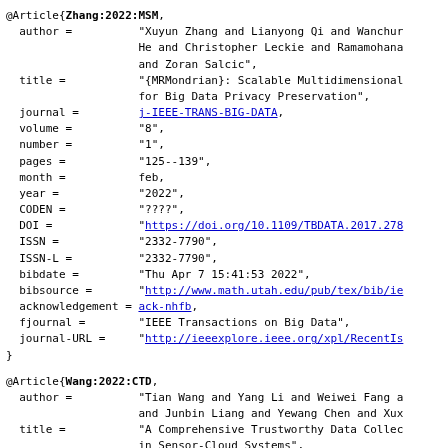@Article{Zhang:2022:MSM, author = "Xuyun Zhang and Lianyong Qi and Wanchun He and Christopher Leckie and Ramamohana and Zoran Salcic", title = "{MRMondrian}: Scalable Multidimensional for Big Data Privacy Preservation", journal = j-IEEE-TRANS-BIG-DATA, volume = "8", number = "1", pages = "125--139", month = feb, year = "2022", CODEN = "????", DOI = "https://doi.org/10.1109/TBDATA.2017.278", ISSN = "2332-7790", ISSN-L = "2332-7790", bibdate = "Thu Apr 7 15:41:53 2022", bibsource = "http://www.math.utah.edu/pub/tex/bib/ie", acknowledgement = ack-nhfb, fjournal = "IEEE Transactions on Big Data", journal-URL = "http://ieeexplore.ieee.org/xpl/RecentIs" }
@Article{Wang:2022:CTD, author = "Tian Wang and Yang Li and Weiwei Fang and Junbin Liang and Yewang Chen and Xuy", title = "A Comprehensive Trustworthy Data Collec in Sensor-Cloud Systems", journal = j-IEEE-TRANS-BIG-DATA, volume = "8",